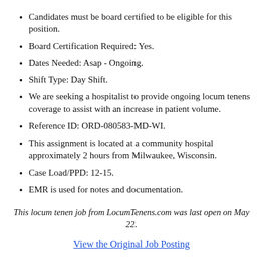Candidates must be board certified to be eligible for this position.
Board Certification Required: Yes.
Dates Needed: Asap - Ongoing.
Shift Type: Day Shift.
We are seeking a hospitalist to provide ongoing locum tenens coverage to assist with an increase in patient volume.
Reference ID: ORD-080583-MD-WI.
This assignment is located at a community hospital approximately 2 hours from Milwaukee, Wisconsin.
Case Load/PPD: 12-15.
EMR is used for notes and documentation.
This locum tenen job from LocumTenens.com was last open on May 22.
View the Original Job Posting